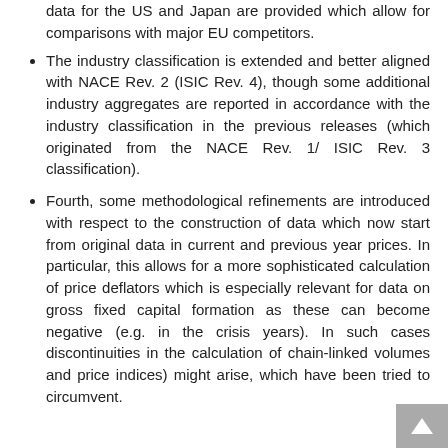data for the US and Japan are provided which allow for comparisons with major EU competitors.
The industry classification is extended and better aligned with NACE Rev. 2 (ISIC Rev. 4), though some additional industry aggregates are reported in accordance with the industry classification in the previous releases (which originated from the NACE Rev. 1/ ISIC Rev. 3 classification).
Fourth, some methodological refinements are introduced with respect to the construction of data which now start from original data in current and previous year prices. In particular, this allows for a more sophisticated calculation of price deflators which is especially relevant for data on gross fixed capital formation as these can become negative (e.g. in the crisis years). In such cases discontinuities in the calculation of chain-linked volumes and price indices) might arise, which have been tried to circumvent.